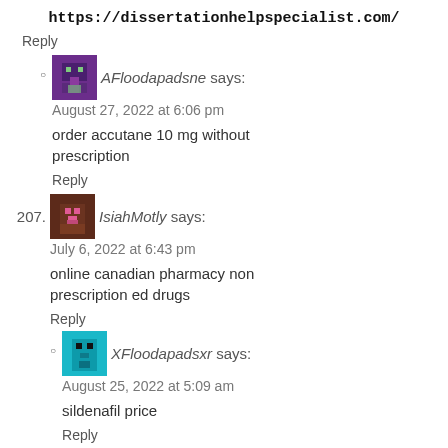https://dissertationhelpspecialist.com/
Reply
AFloodapadsne says:
August 27, 2022 at 6:06 pm
order accutane 10 mg without prescription
Reply
207. IsiahMotly says:
July 6, 2022 at 6:43 pm
online canadian pharmacy non prescription ed drugs
Reply
XFloodapadsxr says:
August 25, 2022 at 5:09 am
sildenafil price
Reply
mapGoasyoj says: